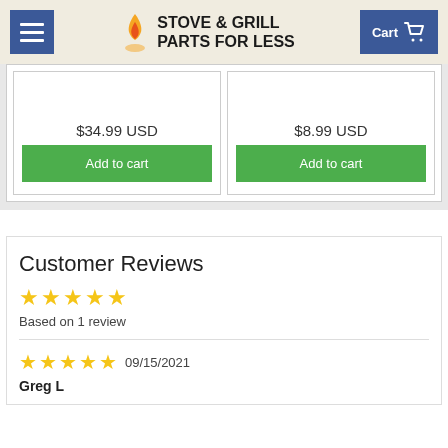STOVE & GRILL PARTS FOR LESS
$34.99 USD
Add to cart
$8.99 USD
Add to cart
Customer Reviews
★★★★★ Based on 1 review
★★★★★ 09/15/2021
Greg L